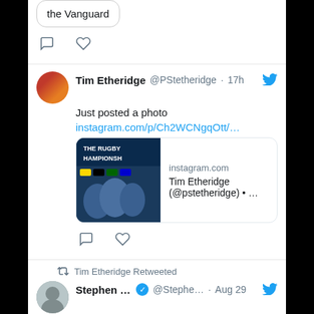the Vanguard
[Figure (screenshot): Comment and heart action icons for first tweet]
Tim Etheridge @PStetheridge · 17h
Just posted a photo
instagram.com/p/Ch2WCNgqOtt/…
[Figure (screenshot): Instagram card preview showing The Rugby Championships image with text: instagram.com / Tim Etheridge (@pstetheridge) • …]
[Figure (screenshot): Comment and heart action icons for second tweet]
Tim Etheridge Retweeted
Stephen ... @Stephe... · Aug 29
Here's a new #StarWars Sunday Giveaway! This one is for a large 11x14 #ObiWanKenobi photo from #StarWarsRebels #DarthMaul Duel in the #TwinSuns ep. It's signed in #Jedi